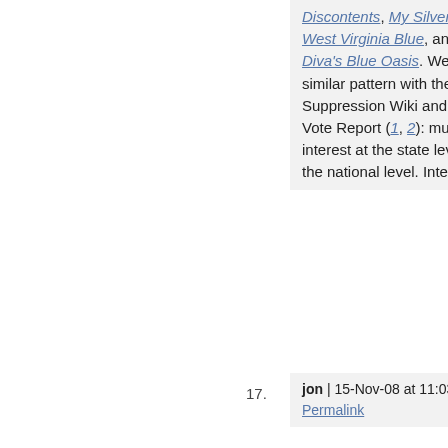Discontents, My Silver State, West Virginia Blue, and Celtic Diva's Blue Oasis. We saw a similar pattern with the Voter Suppression Wiki and Twitter Vote Report (1, 2): much more interest at the state level than the national level. Interesting.
17. jon | 15-Nov-08 at 11:03 am | Permalink